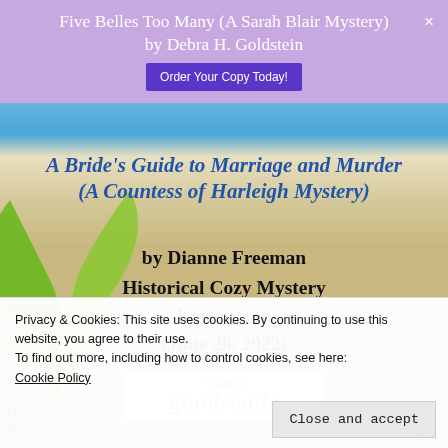Five Belles Too Many (A Sarah Blair Mystery) by Debra H. Goldstein
A Bride's Guide to Marriage and Murder (A Countess of Harleigh Mystery)
by Dianne Freeman
Historical Cozy Mystery
Kensington
(June 28, 2022)
[Figure (logo): + Add to goodreads button]
Privacy & Cookies: This site uses cookies. By continuing to use this website, you agree to their use.
To find out more, including how to control cookies, see here: Cookie Policy
Close and accept